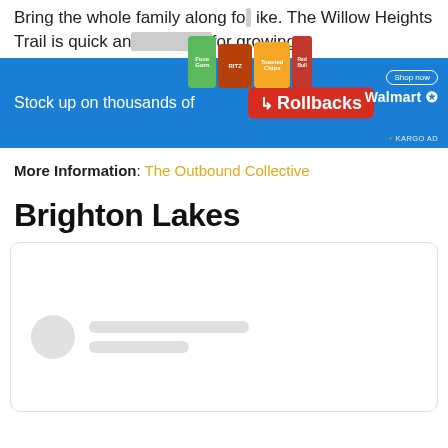Bring the whole family along for the hike. The Willow Heights Trail is quick and for growing
[Figure (infographic): Walmart Rollbacks advertisement banner with snack products (Ritz, Fuze, chips, Red Bull) and text: Stock up on thousands of Rollbacks. Shop now. Walmart logo. KARGO AD label.]
More Information: The Outbound Collective
Brighton Lakes
[Figure (screenshot): A white card box with rounded border showing a loading skeleton placeholder: a circular avatar and two lines of gray placeholder bars.]